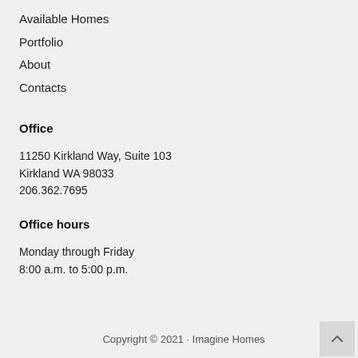Available Homes
Portfolio
About
Contacts
Office
11250 Kirkland Way, Suite 103
Kirkland WA 98033
206.362.7695
Office hours
Monday through Friday
8:00 a.m. to 5:00 p.m.
Copyright © 2021 · Imagine Homes